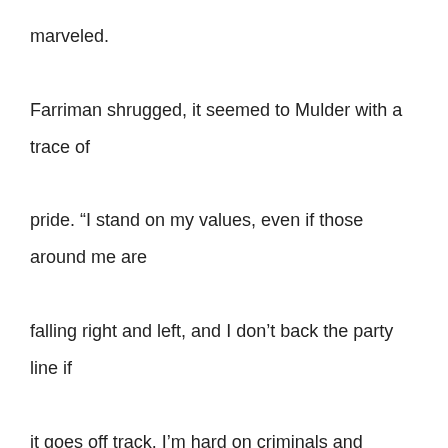marveled.

Farriman shrugged, it seemed to Mulder with a trace of pride. “I stand on my values, even if those around me are falling right and left, and I don’t back the party line if it goes off track. I’m hard on criminals and terrorists, both foreign and domestic. And I don’t care if they blow up a logging crew or bomb an abortion clinic, regardless of my personal or legislative feelings toward abortion.”

Mulder held up a hand. “Whoa, Senator – this isn’t New Hampshire.”